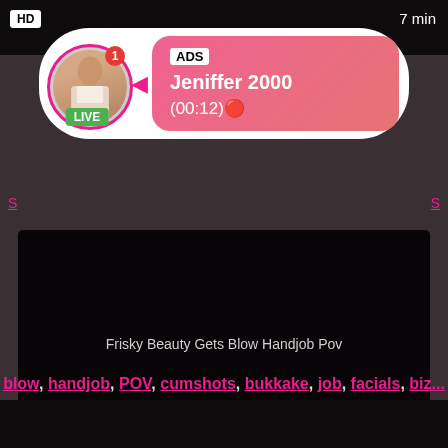[Figure (screenshot): Adult video website screenshot showing HD badge top-left, 7 min duration top-right on dark strip]
[Figure (infographic): Ad popup overlay with circular avatar, LIVE badge, notification badge showing 1, pink gradient box with ADS label, username Jeniffer 2000, timer (00:12)]
[Figure (screenshot): Main dark video thumbnail with HD badge bottom-left and 5 min duration bottom-right]
Frisky Beauty Gets Blow Handjob Pov
blow, handjob, POV, cumshots, bukkake, job, facials, biz...